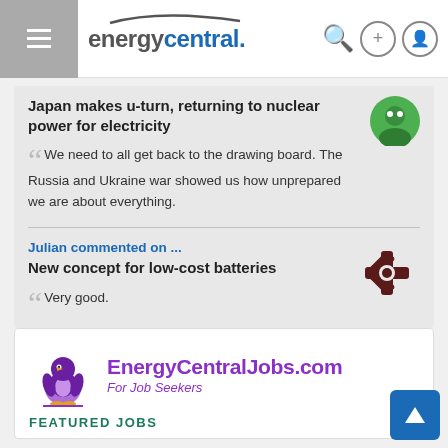energycentral.
Japan makes u-turn, returning to nuclear power for electricity
We need to all get back to the drawing board. The Russia and Ukraine war showed us how unprepared we are about everything.
Julian commented on ...
New concept for low-cost batteries
Very good.
[Figure (logo): EnergyCentralJobs.com For Job Seekers logo with penguin illustration]
FEATURED JOBS